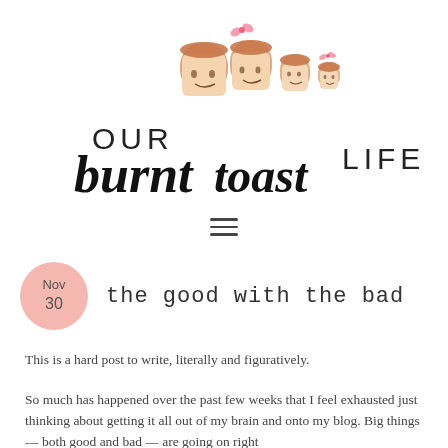[Figure (logo): Our Burnt Toast Life blog logo with illustrated cartoon toast characters (a family of toast slices) and stylized text reading OUR burnt toast LIFE]
[Figure (other): Hamburger menu icon — three horizontal lines]
the good with the bad
This is a hard post to write, literally and figuratively.
So much has happened over the past few weeks that I feel exhausted just thinking about getting it all out of my brain and onto my blog. Big things — both good and bad — are going on right